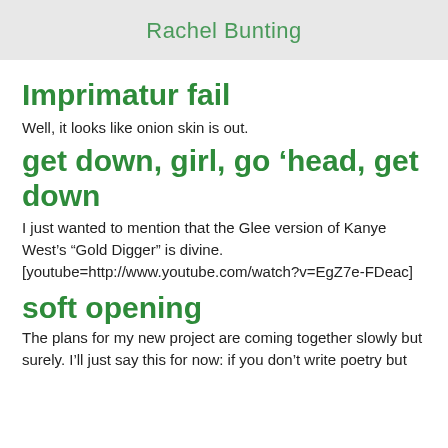Rachel Bunting
Imprimatur fail
Well, it looks like onion skin is out.
get down, girl, go ‘head, get down
I just wanted to mention that the Glee version of Kanye West’s “Gold Digger” is divine. [youtube=http://www.youtube.com/watch?v=EgZ7e-FDeac]
soft opening
The plans for my new project are coming together slowly but surely. I’ll just say this for now: if you don’t write poetry but